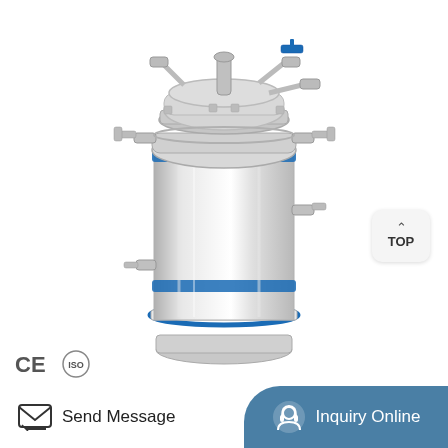[Figure (photo): Stainless steel jacketed pressure vessel / bioreactor with blue band clamps, multiple top fittings including valves and ports, polished cylindrical body, shown on white background. CE and ISO certification badges visible in lower left corner. A 'TOP' navigation button appears in the upper right.]
Send Message
Inquiry Online